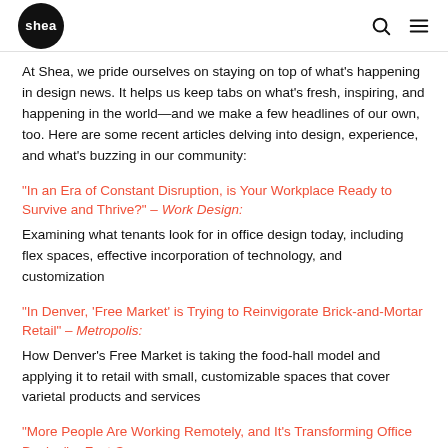shea
At Shea, we pride ourselves on staying on top of what's happening in design news. It helps us keep tabs on what's fresh, inspiring, and happening in the world—and we make a few headlines of our own, too. Here are some recent articles delving into design, experience, and what's buzzing in our community:
"In an Era of Constant Disruption, is Your Workplace Ready to Survive and Thrive?" – Work Design:
Examining what tenants look for in office design today, including flex spaces, effective incorporation of technology, and customization
"In Denver, 'Free Market' is Trying to Reinvigorate Brick-and-Mortar Retail" – Metropolis:
How Denver's Free Market is taking the food-hall model and applying it to retail with small, customizable spaces that cover varietal products and services
"More People Are Working Remotely, and It's Transforming Office Design" – Fast Company:
A look at designing office spaces with a remote-first nature, where...